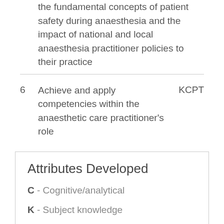the fundamental concepts of patient safety during anaesthesia and the impact of national and local anaesthesia practitioner policies to their practice
6  Achieve and apply competencies within the anaesthetic care practitioner's role   KCPT
Attributes Developed
C - Cognitive/analytical
K - Subject knowledge
T - Transferable skills